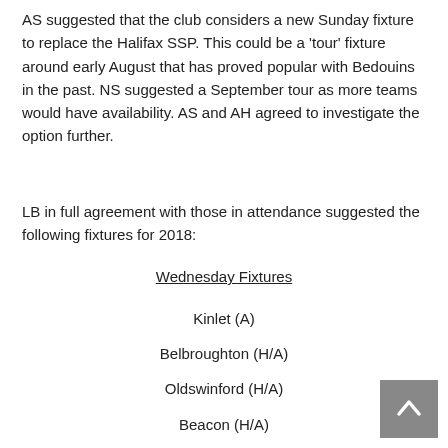AS suggested that the club considers a new Sunday fixture to replace the Halifax SSP. This could be a 'tour' fixture around early August that has proved popular with Bedouins in the past. NS suggested a September tour as more teams would have availability. AS and AH agreed to investigate the option further.
LB in full agreement with those in attendance suggested the following fixtures for 2018:
Wednesday Fixtures
Kinlet (A)
Belbroughton (H/A)
Oldswinford (H/A)
Beacon (H/A)